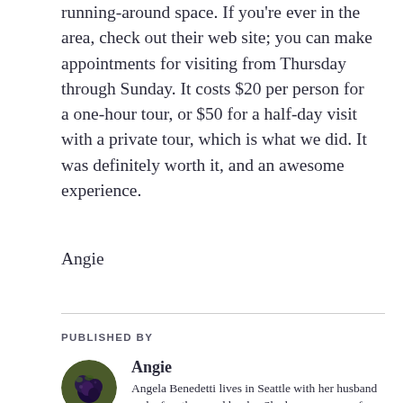running-around space. If you're ever in the area, check out their web site; you can make appointments for visiting from Thursday through Sunday. It costs $20 per person for a one-hour tour, or $50 for a half-day visit with a private tour, which is what we did. It was definitely worth it, and an awesome experience.
Angie
PUBLISHED BY
[Figure (photo): Circular avatar photo of author Angie, showing dark purple/black round fruits or berries against a green background.]
Angie
Angela Benedetti lives in Seattle with her husband and a few thousand books. She loves romance for the happy endings, for the affirmation that everyone who's willing to fight for love deserves to get it and be happy with someone. She's best known for her Sentinel series of